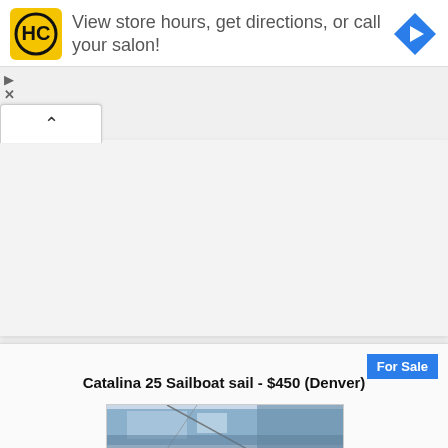[Figure (screenshot): Advertisement banner: HC (Haircut) logo in yellow square, text 'View store hours, get directions, or call your salon!', blue diamond navigation icon on right]
[Figure (screenshot): Collapsed content area with a chevron/caret-up tab button in top left corner, gray background area below]
For Sale
Catalina 25 Sailboat sail - $450 (Denver)
[Figure (photo): Photo of a blue sailboat sail, interior view showing sail fabric and rigging]